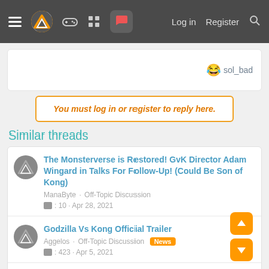Navigation bar with menu, logo, icons, Log in, Register, Search
sol_bad
You must log in or register to reply here.
Similar threads
The Monsterverse is Restored! GvK Director Adam Wingard in Talks For Follow-Up! (Could Be Son of Kong)
ManaByte · Off-Topic Discussion
: 10 · Apr 28, 2021
Godzilla Vs Kong Official Trailer
Aggelos · Off-Topic Discussion News
: 423 · Apr 5, 2021
Godzilla Vs Kong Spoiler discussion and